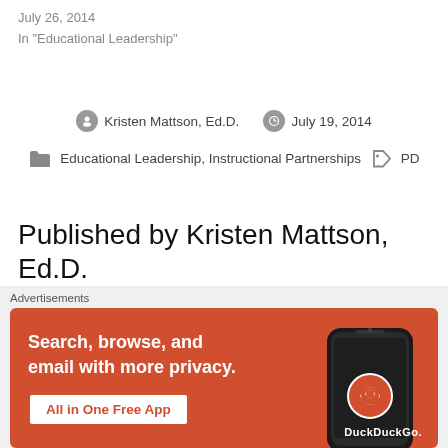July 26, 2014
In "Educational Leadership"
Kristen Mattson, Ed.D.   July 19, 2014
Educational Leadership, Instructional Partnerships   PD
Published by Kristen Mattson, Ed.D.
High school Library Media Specialist with a passion for instructional technology, curriculum, and problem based learning. Join my PLN @DrKMattson on Twitter. View more posts.
[Figure (screenshot): DuckDuckGo advertisement banner with orange background. Text reads 'Search, browse, and email with more privacy. All in One Free App'. Shows a smartphone with DuckDuckGo app and logo.]